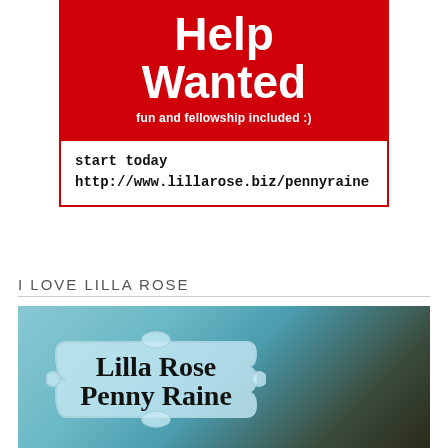[Figure (infographic): Red 'Help Wanted' banner with white bold text, subheading 'fun and fellowship included :)' in white, and a white box below with black monospace text 'start today http://www.lillarose.biz/pennyraine']
I LOVE LILLA ROSE
[Figure (photo): Photo of a decorative badge/label overlay on a blurred background with script text reading 'Lilla Rose Penny Raine']